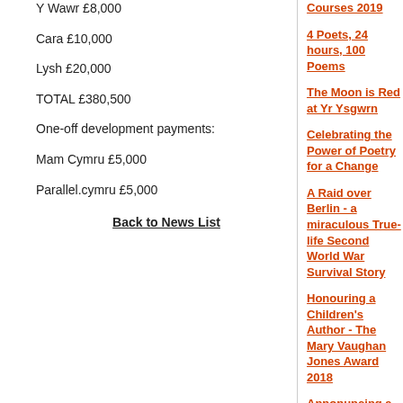Y Wawr £8,000
Cara £10,000
Lysh £20,000
TOTAL £380,500
One-off development payments:
Mam Cymru £5,000
Parallel.cymru £5,000
Back to News List
Courses 2019
4 Poets, 24 hours, 100 Poems
The Moon is Red at Yr Ysgwrn
Celebrating the Power of Poetry for a Change
A Raid over Berlin - a miraculous True-life Second World War Survival Story
Honouring a Children's Author - The Mary Vaughan Jones Award 2018
Annonuncing a Scheme to Nurture a New Generation of Authors and Illustrators of Children's Books
Literature Wales Writers' Bursaries 2019